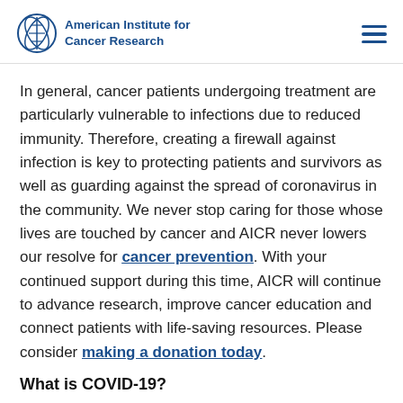American Institute for Cancer Research
In general, cancer patients undergoing treatment are particularly vulnerable to infections due to reduced immunity. Therefore, creating a firewall against infection is key to protecting patients and survivors as well as guarding against the spread of coronavirus in the community. We never stop caring for those whose lives are touched by cancer and AICR never lowers our resolve for cancer prevention. With your continued support during this time, AICR will continue to advance research, improve cancer education and connect patients with life-saving resources. Please consider making a donation today.
What is COVID-19?